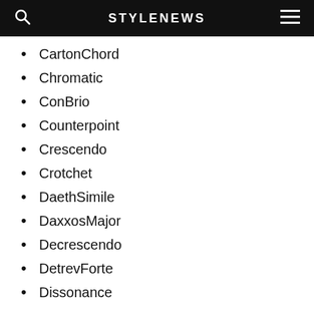STYLENEWS
CartonChord
Chromatic
ConBrio
Counterpoint
Crescendo
Crotchet
DaethSimile
DaxxosMajor
Decrescendo
DetrevForte
Dissonance